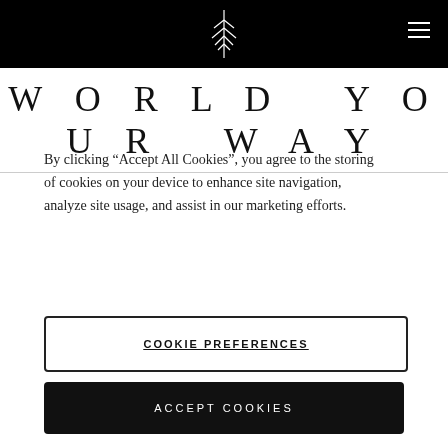WORLD YOUR WAY
By clicking “Accept All Cookies”, you agree to the storing of cookies on your device to enhance site navigation, analyze site usage, and assist in our marketing efforts.
COOKIE PREFERENCES
ACCEPT COOKIES